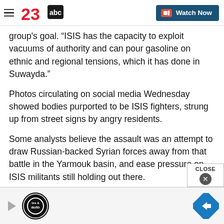23abc — Watch Now
group's goal. "ISIS has the capacity to exploit vacuums of authority and can pour gasoline on ethnic and regional tensions, which it has done in Suwayda."
Photos circulating on social media Wednesday showed bodies purported to be ISIS fighters, strung up from street signs by angry residents.
Some analysts believe the assault was an attempt to draw Russian-backed Syrian forces away from that battle in the Yarmouk basin, and ease pressure on ISIS militants still holding out there.
[Figure (logo): Tire & Auto advertisement banner at page bottom with play button and navigation arrow icon]